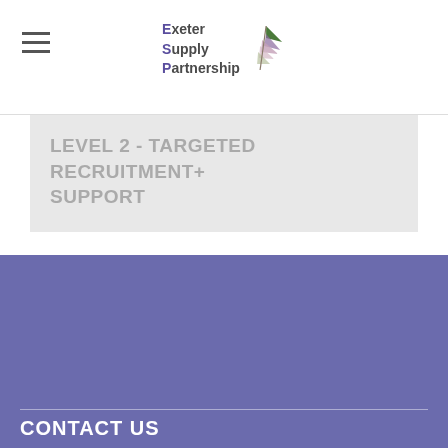Exeter Supply Partnership
LEVEL 2 - TARGETED RECRUITMENT+ SUPPORT
[Figure (logo): Exeter Supply Partnership logo — large white text on purple background with multicoloured leaf/feather icon]
CONTACT US